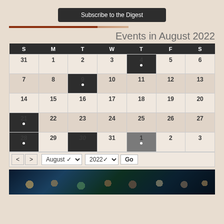[Figure (other): Subscribe to the Digest button]
Events in August 2022
| S | M | T | W | T | F | S |
| --- | --- | --- | --- | --- | --- | --- |
| 31 | 1 | 2 | 3 | 4 • | 5 | 6 |
| 7 | 8 | 9 • | 10 | 11 | 12 | 13 |
| 14 | 15 | 16 | 17 | 18 | 19 | 20 |
| 21 • | 22 | 23 | 24 | 25 | 26 | 27 |
| 28 • | 29 | 30 | 31 | 1 • | 2 | 3 |
[Figure (photo): Group video conference photo banner with multiple people in video call squares]